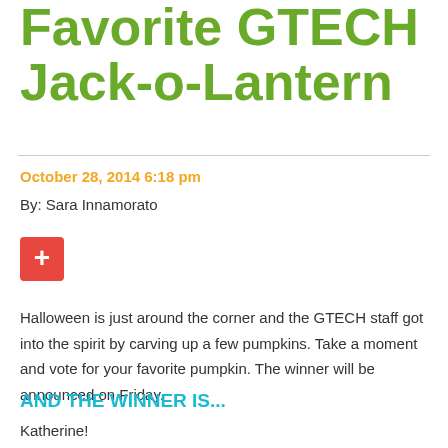Favorite GTECH Jack-o-Lantern
October 28, 2014 6:18 pm
By: Sara Innamorato
[Figure (other): Red plus/add button icon]
Halloween is just around the corner and the GTECH staff got into the spirit by carving up a few pumpkins. Take a moment and vote for your favorite pumpkin. The winner will be announced on Friday.
AND THE WINNER IS...
Katherine!